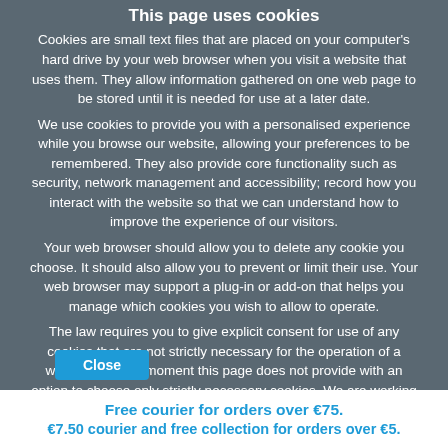This page uses cookies
Cookies are small text files that are placed on your computer's hard drive by your web browser when you visit a website that uses them. They allow information gathered on one web page to be stored until it is needed for use at a later date.
We use cookies to provide you with a personalised experience while you browse our website, allowing your preferences to be remembered. They also provide core functionality such as security, network management and accessibility; record how you interact with the website so that we can understand how to improve the experience of our visitors.
Your web browser should allow you to delete any cookie you choose. It should also allow you to prevent or limit their use. Your web browser may support a plug-in or add-on that helps you manage which cookies you wish to allow to operate.
The law requires you to give explicit consent for use of any cookies that are not strictly necessary for the operation of a website. For the moment this page does not provide with an option to choose only strictly necessary cookies. We are working on it and you should soon see the change.
If you choose not to use cookies or you prevent their use through your browser settings, we would sadly not be able to let you in.
Close
Free courier for orders over €75.
€7.50 courier and free collection for orders over €5.